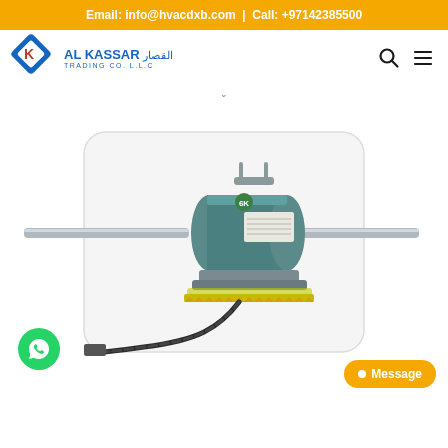Email: info@hvacdxb.com | Call: +97142385500
[Figure (logo): Al Kassar Trading Co. L.L.C logo with diamond K shape and Arabic text القصار]
[Figure (photo): Fan coil unit motor / dual-shaft AC motor in teal/green color with long metal shafts on both sides, a mounting bracket base, and electrical cable, shown against white background with faint F watermark]
Message